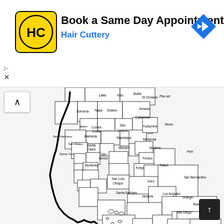[Figure (other): Advertisement banner for Hair Cuttery with logo, title 'Book a Same Day Appointment', subtitle 'Hair Cuttery', navigation arrow icon, and ad control symbols]
[Figure (map): Black and white map of California showing county boundaries with county names labeled, including San Francisco, Los Angeles, San Diego, Sacramento, Fresno, Kern, San Bernardino, Riverside, Imperial, and many others]